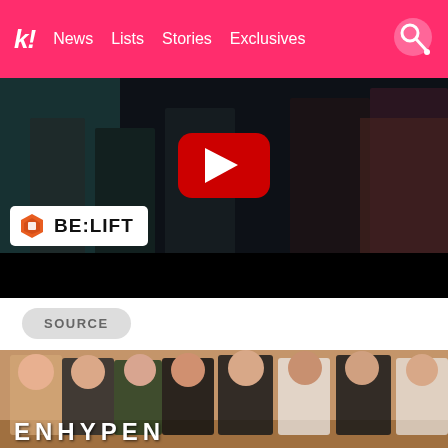k! News  Lists  Stories  Exclusives
[Figure (screenshot): BE:LIFT YouTube video thumbnail showing group of people in dark setting with red YouTube play button overlay and BE:LIFT logo badge]
SOURCE
[Figure (photo): Group photo of ENHYPEN K-pop boy group members posing together, wearing formal and casual outfits including blazers and a green striped vest, with text ENHYPEN at the bottom]